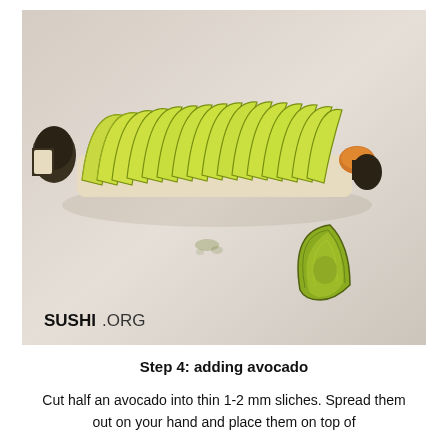[Figure (photo): Photo showing sliced avocado arranged in a fan/row on top of a sushi roll on a white surface, with a small cluster of avocado slices to the lower right, and a partial sushi roll piece on the left. Watermark reads 'SUSHI.ORG' in the bottom left corner.]
Step 4: adding avocado
Cut half an avocado into thin 1-2 mm sliches. Spread them out on your hand and place them on top of